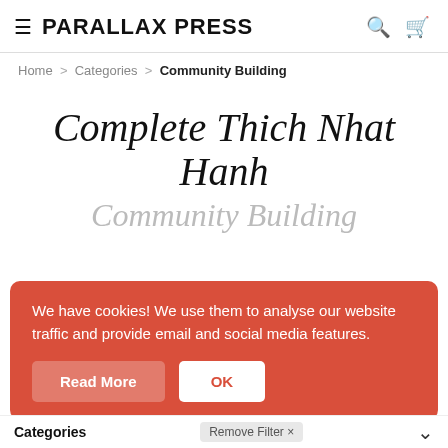PARALLAX PRESS
Home > Categories > Community Building
Complete Thich Nhat Hanh
Community Building
We have cookies! We use them to analyse our website traffic and provide email and social media features.
Read More  OK
Categories  Remove Filter x